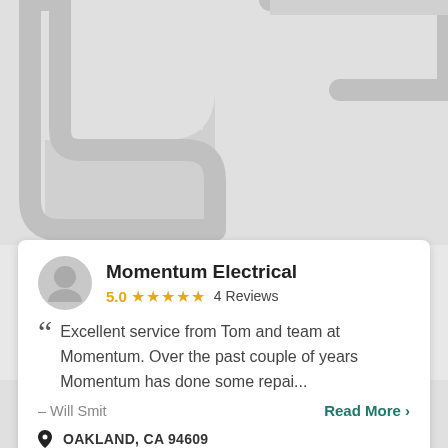[Figure (map): Gray map background with road shapes visible at top and bottom of the page]
Momentum Electrical
5.0 ★★★★★ 4 Reviews
Excellent service from Tom and team at Momentum. Over the past couple of years Momentum has done some repai...
– Will Smit   Read More >
OAKLAND, CA 94609
Send Message